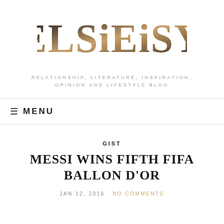[Figure (logo): ELSiEiSY blog logo with decorative mixed metallic and dark lettering]
RELATIONSHIP, LITERATURE, INSPIRATION, OPINION AND LIFESTYLE BLOG
≡ MENU
GIST
MESSI WINS FIFTH FIFA BALLON D'OR
JAN 12, 2016   NO COMMENTS